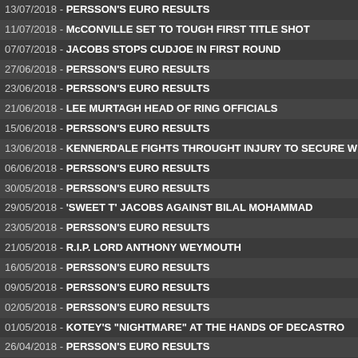13/07/2018 - PERSSON'S EURO RESULTS
11/07/2018 - McCONVILLE SET TO TOUGH FIRST TITLE SHOT
07/07/2018 - JACOBS STOPS CUDJOE IN FIRST ROUND
27/06/2018 - PERSSON'S EURO RESULTS
23/06/2018 - PERSSON'S EURO RESULTS
21/06/2018 - LEE MURTAGH HEAD OF RING OFFICIALS
15/06/2018 - PERSSON'S EURO RESULTS
13/06/2018 - KENNERDALE FIGHTS THROUGHT INJURY TO SECURE W
06/06/2018 - PERSSON'S EURO RESULTS
30/05/2018 - PERSSON'S EURO RESULTS
29/05/2018 - 'SWEET T' JACOBS AGAINST BILAL MOHAMMAD
23/05/2018 - PERSSON'S EURO RESULTS
21/05/2018 - R.I.P. LORD ANTHONY WEYMOUTH
16/05/2018 - PERSSON'S EURO RESULTS
09/05/2018 - PERSSON'S EURO RESULTS
02/05/2018 - PERSSON'S EURO RESULTS
01/05/2018 - KOTEY'S "NIGHTMARE" AT THE HANDS OF DECASTRO
26/04/2018 - PERSSON'S EURO RESULTS
25/04/2018 - McILROY SECURES TITLE IN KNOCKOUT FASHION
18/04/2018 - PERSSON'S EURO RESULTS
12/04/2018 - HEALTH & SAFETY ADVISOR WEBSITE
11/04/2018 - PERSSON'S EURO RESULTS
29/03/2018 - PERSSON'S EURO RESULTS
22/03/2018 - PERSSON'S EURO RESULTS
21/03/2018 - FIGHT REPORT, LIVERPOOL 17TH MARCH 2018
15/03/2018 - PERSSON'S EURO RESULTS